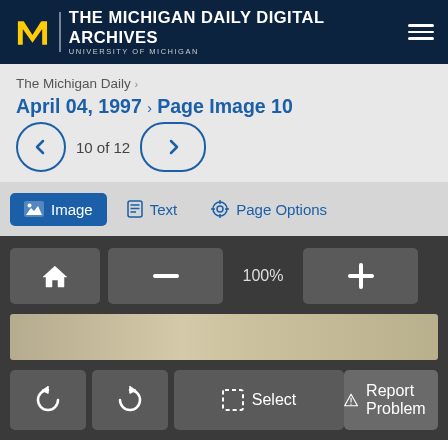THE MICHIGAN DAILY DIGITAL ARCHIVES — UNIVERSITY OF MICHIGAN
The Michigan Daily ›
April 04, 1997 › Page Image 10
10 of 12
Image   Text   Page Options
100%
Select
Report Problem